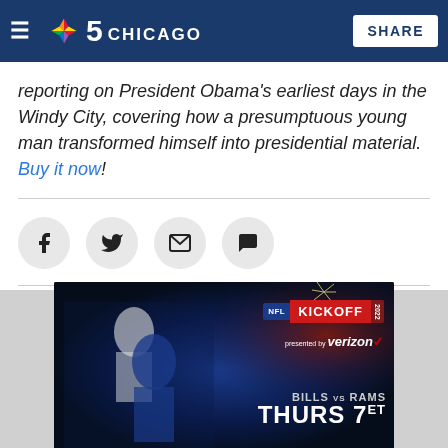NBC 5 Chicago — SHARE
reporting on President Obama's earliest days in the Windy City, covering how a presumptuous young man transformed himself into presidential material. Buy it now!
[Figure (screenshot): NFL Kickoff 2022 advertisement showing Buffalo Bills vs Los Angeles Rams, Thurs 7ET, presented by Verizon, with two football players in action]